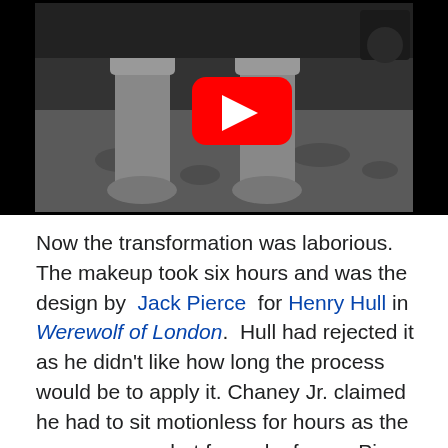[Figure (screenshot): A YouTube video thumbnail showing black and white image of werewolf feet/legs on a patterned surface, with a red YouTube play button overlay in the center.]
Now the transformation was laborious. The makeup took six hours and was the design by Jack Pierce for Henry Hull in Werewolf of London. Hull had rejected it as he didn't like how long the process would be to apply it. Chaney Jr. claimed he had to sit motionless for hours as the scenes were shot frame by frame. Pierce used grease paint, a rubber snout, wigs, and glued layers of yak hair to Chaney Jr.'s face. Larry's dissolve transformation on